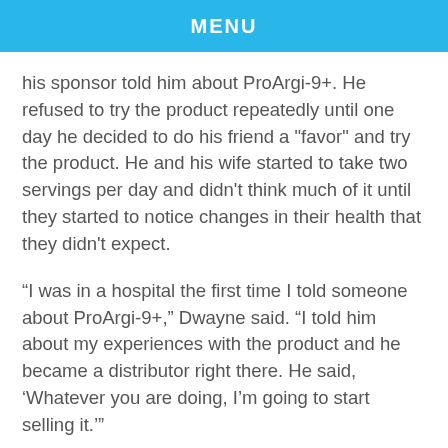MENU
his sponsor told him about ProArgi-9+. He refused to try the product repeatedly until one day he decided to do his friend a "favor" and try the product. He and his wife started to take two servings per day and didn't think much of it until they started to notice changes in their health that they didn't expect.
“I was in a hospital the first time I told someone about ProArgi-9+,” Dwayne said. “I told him about my experiences with the product and he became a distributor right there. He said, ‘Whatever you are doing, I’m going to start selling it.’”